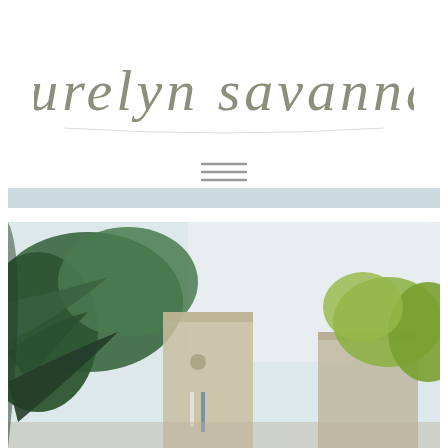[Figure (logo): Cursive/calligraphy script logo reading 'laurelyn savannah' in muted olive/gray color]
[Figure (other): Hamburger menu icon — three horizontal lines in gray]
[Figure (other): Light blue-gray horizontal banner bar]
[Figure (photo): Outdoor photograph showing green foliage/trees in the foreground and old stone buildings in the background against a pale sky]